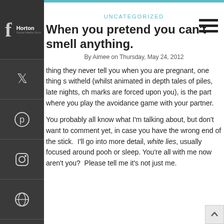Horton
UNCATEGORIZED
When you pretend you can't smell anything.
By Aimee on Thursday, May 24, 2012
thing they never tell you when you are pregnant, one thing s witheld (whilst animated in depth tales of piles, late nights, ch marks are forced upon you), is the part where you play the avoidance game with your partner.
You probably all know what I'm talking about, but don't want to comment yet, in case you have the wrong end of the stick.  I'll go into more detail, white lies, usually focused around pooh or sleep.  You're all with me now aren't you?  Please tell me it's not just me.